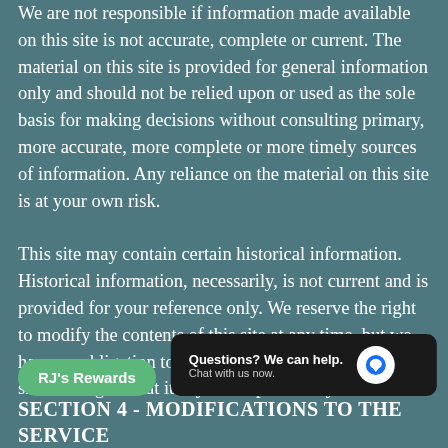We are not responsible if information made available on this site is not accurate, complete or current. The material on this site is provided for general information only and should not be relied upon or used as the sole basis for making decisions without consulting primary, more accurate, more complete or more timely sources of information. Any reliance on the material on this site is at your own risk. This site may contain certain historical information. Historical information, necessarily, is not current and is provided for your reference only. We reserve the right to modify the contents of this site at any time, but we have no obligation to update any information on our site. You agree that it is your responsibility to monitor changes...
SECTION 4 - MODIFICATIONS TO THE SERVICE